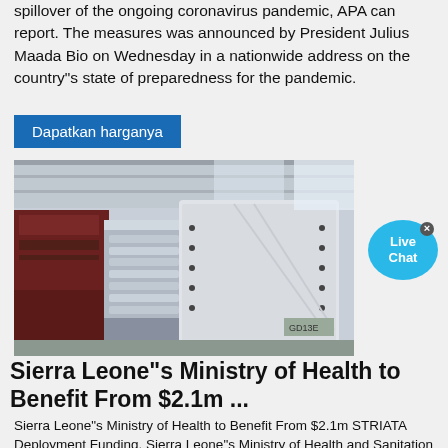spillover of the ongoing coronavirus pandemic, APA can report. The measures was announced by President Julius Maada Bio on Wednesday in a nationwide address on the country"s state of preparedness for the pandemic.
Dapatkan harganya
[Figure (photo): Industrial machinery/equipment in a factory setting — large gray and dark red metal structures/panels in a warehouse.]
[Figure (other): Live Chat bubble icon in blue]
Sierra Leone"s Ministry of Health to Benefit From $2.1m ...
Sierra Leone"s Ministry of Health to Benefit From $2.1m STRIATA Deployment Funding. Sierra Leone"s Ministry of Health and Sanitation (MoHS) will be among two other countries" health sectors that will be benefiting from the deployment of STRIATA in their health systems. In 2020